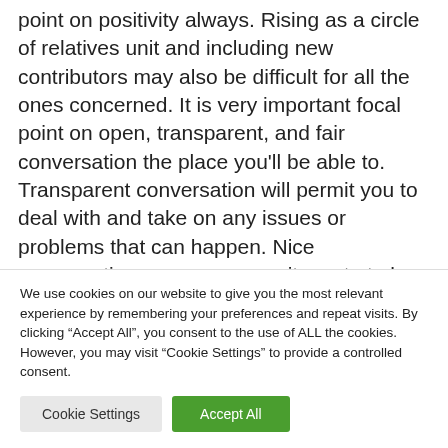point on positivity always. Rising as a circle of relatives unit and including new contributors may also be difficult for all the ones concerned. It is very important focal point on open, transparent, and fair conversation the place you'll be able to. Transparent conversation will permit you to deal with and take on any issues or problems that can happen. Nice conversation may even permit you to to be sure that each and every circle of relatives member's wishes are catered for and met.
We use cookies on our website to give you the most relevant experience by remembering your preferences and repeat visits. By clicking "Accept All", you consent to the use of ALL the cookies. However, you may visit "Cookie Settings" to provide a controlled consent.